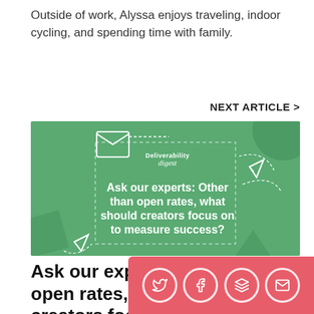Outside of work, Alyssa enjoys traveling, indoor cycling, and spending time with family.
NEXT ARTICLE >
[Figure (illustration): Green banner with decorative envelope icons, paper plane, geometric shapes, and text overlay. Contains the 'Deliverability digest' logo and article title: Ask our experts: Other than open rates, what should creators focus on to measure success?]
Ask our experts: Other than open rates, what should creators focus on to measure success?
[Figure (infographic): Social sharing bar with coral/red background showing Twitter, Facebook, layers/bookmark, and email icons as circular outline buttons]